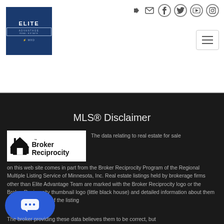[Figure (logo): Elite Advantage Real Estate logo — dark blue square with ELITE text and MXD branding]
[Figure (infographic): Social media icon row: login arrow, email, facebook, twitter, youtube, instagram]
[Figure (other): Hamburger menu button (three horizontal lines in a rounded rectangle)]
MLS® Disclaimer
[Figure (logo): Broker Reciprocity logo — white background with house icon and bold text 'Broker Reciprocity']
The data relating to real estate for sale on this web site comes in part from the Broker Reciprocity Program of the Regional Multiple Listing Service of Minnesota, Inc. Real estate listings held by brokerage firms other than Elite Advantage Team are marked with the Broker Reciprocity logo or the Broker Reciprocity thumbnail logo (little black house) and detailed information about them includes the name of the listing
[Figure (other): Chat widget button — blue rounded rectangle with speech bubble and ellipsis dots]
The broker providing these data believes them to be correct, but